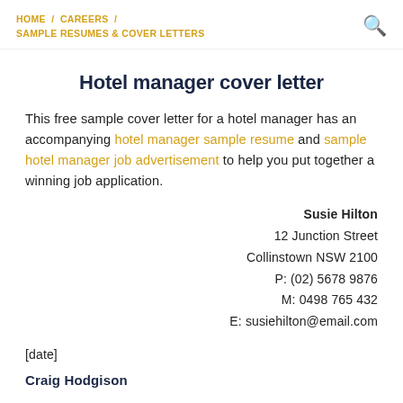HOME / CAREERS / SAMPLE RESUMES & COVER LETTERS
Hotel manager cover letter
This free sample cover letter for a hotel manager has an accompanying hotel manager sample resume and sample hotel manager job advertisement to help you put together a winning job application.
Susie Hilton
12 Junction Street
Collinstown NSW 2100
P: (02) 5678 9876
M: 0498 765 432
E: susiehilton@email.com
[date]
Craig Hodgison